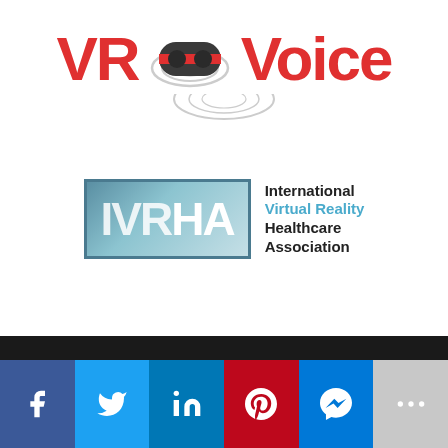[Figure (logo): VR Voice logo: bold red text 'VR' and 'Voice' with a VR headset icon in the middle, surrounded by concentric signal arcs]
[Figure (logo): IVRHA logo: box with letters IVR in lighter tone and HA in white on gradient blue-gray background, next to text 'International Virtual Reality Healthcare Association']